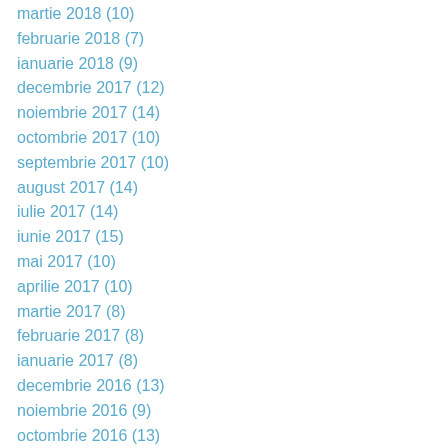martie 2018 (10)
februarie 2018 (7)
ianuarie 2018 (9)
decembrie 2017 (12)
noiembrie 2017 (14)
octombrie 2017 (10)
septembrie 2017 (10)
august 2017 (14)
iulie 2017 (14)
iunie 2017 (15)
mai 2017 (10)
aprilie 2017 (10)
martie 2017 (8)
februarie 2017 (8)
ianuarie 2017 (8)
decembrie 2016 (13)
noiembrie 2016 (9)
octombrie 2016 (13)
septembrie 2016 (6)
august 2016 (10)